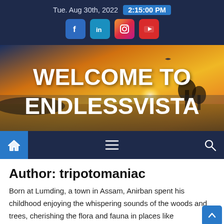Tue. Aug 30th, 2022  2:15:00 PM
[Figure (screenshot): Social media icons: Facebook, LinkedIn, Instagram, YouTube]
[Figure (photo): Hero banner with sunset landscape and text WELCOME TO ENDLESSVISTA]
[Figure (screenshot): Navigation bar with home icon, hamburger menu, and search icon]
Author: tripotomaniac
Born at Lumding, a town in Assam, Anirban spent his childhood enjoying the whispering sounds of the woods and trees, cherishing the flora and fauna in places like